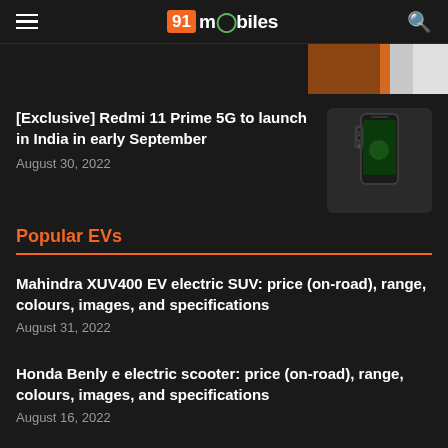91mobiles
[Figure (photo): Partial product image strip at top right, showing brown/tan colored item]
[Exclusive] Redmi 11 Prime 5G to launch in India in early September
August 30, 2022
[Figure (photo): Thumbnail of Redmi 11 Prime 5G smartphone in black color]
Popular EVs
Mahindra XUV400 EV electric SUV: price (on-road), range, colours, images, and specifications
August 31, 2022
Honda Benly e electric scooter: price (on-road), range, colours, images, and specifications
August 16, 2022
Tata Altroz EV: price (on-road), range,